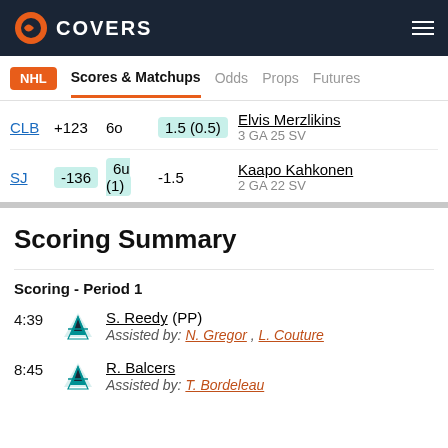COVERS
NHL  Scores & Matchups  Odds  Props  Futures
| Team | ML | OU | Spread | Goalie |
| --- | --- | --- | --- | --- |
| CLB | +123 | 6o | 1.5 (0.5) | Elvis Merzlikins 3 GA 25 SV |
| SJ | -136 | 6u (1) | -1.5 | Kaapo Kahkonen 2 GA 22 SV |
Scoring Summary
Scoring - Period 1
4:39 S. Reedy (PP) Assisted by: N. Gregor , L. Couture
8:45 R. Balcers Assisted by: T. Bordeleau